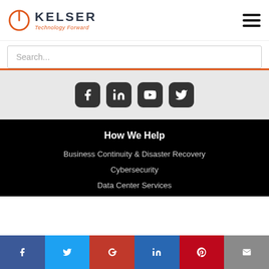[Figure (logo): Kelser Technology Forward logo with orange power-button icon]
[Figure (infographic): Hamburger menu icon (three horizontal bars)]
Search...
[Figure (infographic): Social media icons: Facebook, LinkedIn, YouTube, Twitter]
How We Help
Business Continuity & Disaster Recovery
Cybersecurity
Data Center Services
[Figure (infographic): Bottom social share bar with Facebook, Twitter, Google+, LinkedIn, Pinterest, Email icons]